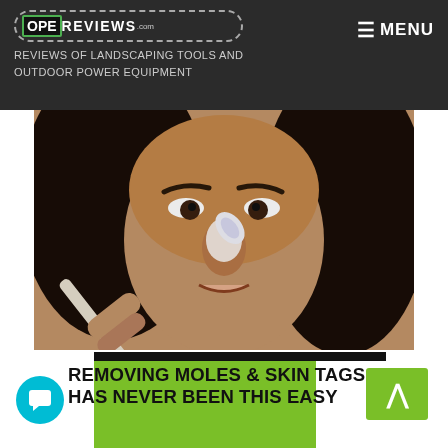OPEREVIEWS.com — REVIEWS OF LANDSCAPING TOOLS AND OUTDOOR POWER EQUIPMENT | MENU
[Figure (photo): Close-up photo of a woman applying white cream/product to her nose using a small applicator brush. She has long dark hair and is looking toward the camera.]
REMOVING MOLES & SKIN TAGS HAS NEVER BEEN THIS EASY